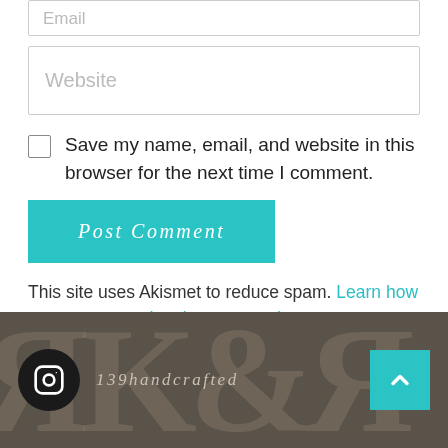[Figure (screenshot): Email input field (partially visible at top, cut off)]
[Figure (screenshot): Website input field with placeholder text 'Website']
Save my name, email, and website in this browser for the next time I comment.
[Figure (screenshot): Teal 'Post Comment' button]
This site uses Akismet to reduce spam. Learn how your comment data is processed.
[Figure (screenshot): Footer section with dark brownish-grey background, decorative large letters in background, Instagram icon circle, '139handcrafted' handle text, and teal up-arrow button]